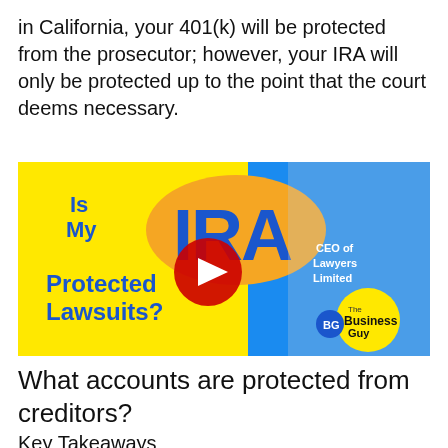in California, your 401(k) will be protected from the prosecutor; however, your IRA will only be protected up to the point that the court deems necessary.
[Figure (screenshot): YouTube video thumbnail titled 'Is My IRA Protected from Lawsuits?' featuring a man in a suit with text 'CEO of Lawyers Limited' and 'The Business Guy' branding, on a yellow and blue background with a red YouTube play button.]
What accounts are protected from creditors?
Key Takeaways